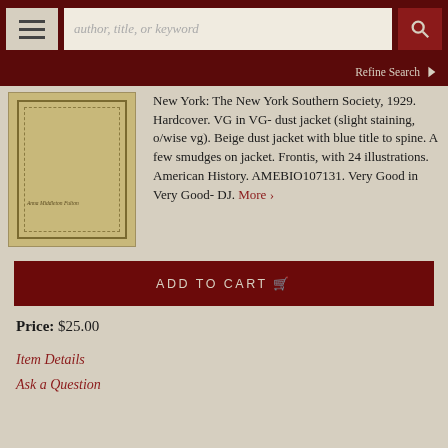author, title, or keyword
Refine Search
[Figure (photo): Book with beige/tan cover showing decorative border lines and small author text]
New York: The New York Southern Society, 1929. Hardcover. VG in VG- dust jacket (slight staining, o/wise vg). Beige dust jacket with blue title to spine. A few smudges on jacket. Frontis, with 24 illustrations. American History. AMEBIO107131. Very Good in Very Good- DJ. More >
ADD TO CART
Price: $25.00
Item Details
Ask a Question